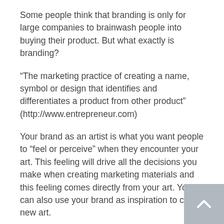Some people think that branding is only for large companies to brainwash people into buying their product. But what exactly is branding?
“The marketing practice of creating a name, symbol or design that identifies and differentiates a product from other product” (http://www.entrepreneur.com)
Your brand as an artist is what you want people to “feel or perceive” when they encounter your art. This feeling will drive all the decisions you make when creating marketing materials and this feeling comes directly from your art. You can also use your brand as inspiration to create new art.
Let’s say for example you are a book illustrator and your style is colorful and whimsical. Those two adjectives should describe everything potential clients see from you. Your font should be whimsical